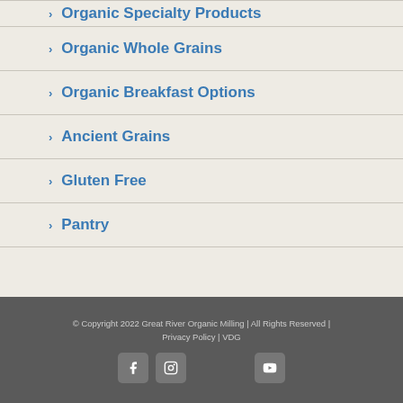Organic Specialty Products
Organic Whole Grains
Organic Breakfast Options
Ancient Grains
Gluten Free
Pantry
© Copyright 2022 Great River Organic Milling | All Rights Reserved | Privacy Policy | VDG